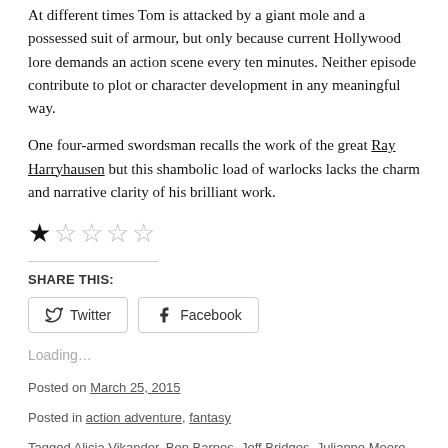At different times Tom is attacked by a giant mole and a possessed suit of armour, but only because current Hollywood lore demands an action scene every ten minutes. Neither episode contribute to plot or character development in any meaningful way.
One four-armed swordsman recalls the work of the great Ray Harryhausen but this shambolic load of warlocks lacks the charm and narrative clarity of his brilliant work.
★☆☆☆☆
SHARE THIS:
Twitter  Facebook
Loading...
Posted on March 25, 2015
Posted in action adventure, fantasy
Tagged Alicia Vikander, Ben Barnes, Jeff Bridges, Julianne Moore, Kit